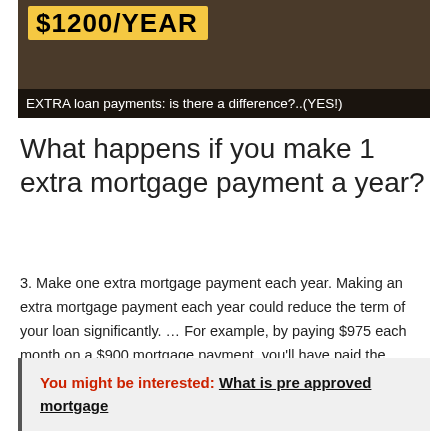[Figure (photo): Banner image with dark brown background showing '$1200/YEAR' text on a yellow label at top, and caption 'EXTRA loan payments: is there a difference?..(YES!)' at bottom on dark overlay. A glass is partially visible in the background.]
What happens if you make 1 extra mortgage payment a year?
3. Make one extra mortgage payment each year. Making an extra mortgage payment each year could reduce the term of your loan significantly. … For example, by paying $975 each month on a $900 mortgage payment, you'll have paid the equivalent of an extra payment by the end of the year.
You might be interested:  What is pre approved mortgage